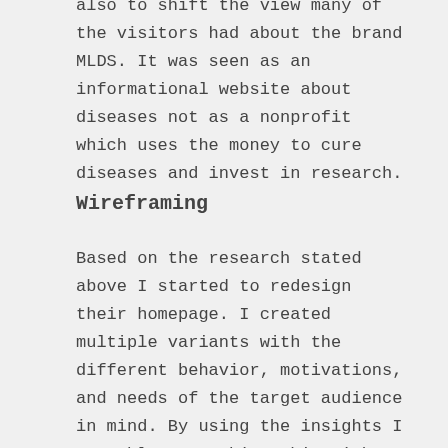also to shift the view many of the visitors had about the brand MLDS. It was seen as an informational website about diseases not as a nonprofit which uses the money to cure diseases and invest in research.
Wireframing
Based on the research stated above I started to redesign their homepage. I created multiple variants with the different behavior, motivations, and needs of the target audience in mind. By using the insights I was able to combine this with behavioral design